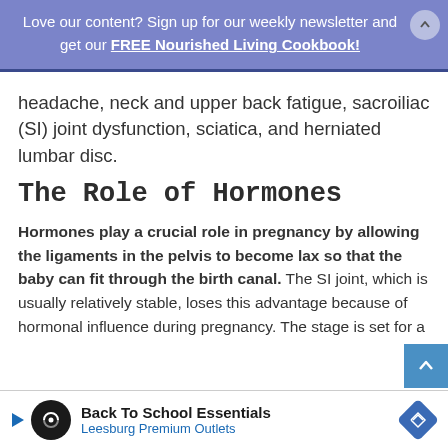Love our content? Sign up for our weekly newsletter and get our FREE Nourished Living Cookbook!
headache, neck and upper back fatigue, sacroiliac (SI) joint dysfunction, sciatica, and herniated lumbar disc.
The Role of Hormones
Hormones play a crucial role in pregnancy by allowing the ligaments in the pelvis to become lax so that the baby can fit through the birth canal. The SI joint, which is usually relatively stable, loses this advantage because of hormonal influence during pregnancy. The stage is set for a
Back To School Essentials Leesburg Premium Outlets